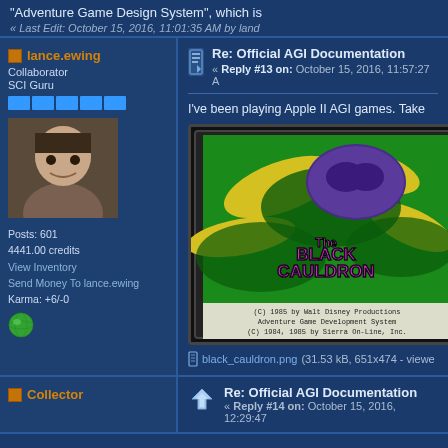"Adventure Game Design System", which is
« Last Edit: October 15, 2016, 11:01:35 AM by land
lance.ewing
Collaborator
SCI Guru
[Figure (photo): User avatar photo of lance.ewing - a man with dark hair looking directly at camera]
Posts: 601
4441.00 credits
View Inventory
Send Money To lance.ewing
Karma: +6/-0
[Figure (illustration): Globe icon - small green world icon]
Re: Official AGI Documentation
« Reply #13 on: October 15, 2016, 11:57:27 A
I've been playing Apple II AGI games. Take
[Figure (screenshot): Screenshot of The Black Cauldron AGI game title screen. Shows colorful swirling green and yellow abstract background with blue/purple blob creature. Text reads 'The Black Cauldron' in stylized font. Bottom credits: (C) 1985 by Walt Disney Productions, Adventure Game Development System, (C) 1984, 1985 by Sierra On-Line, Inc.]
black_cauldron.png (31.53 kB, 651x474 - viewe
Collector
Re: Official AGI Documentation
« Reply #14 on: October 15, 2016, 12:29:47